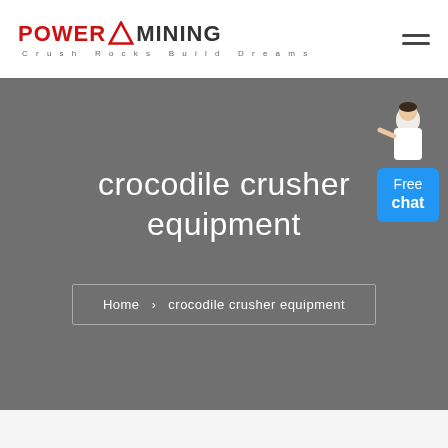POWER MINING — Crush Rocks Build Dreams
crocodile crusher equipment
[Figure (illustration): Customer service representative figure with 'Free chat' button overlay]
Home › crocodile crusher equipment